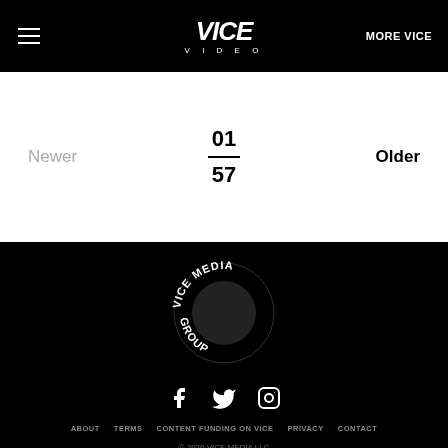VICE VIDEO — MORE VICE
Newer
01 / 57
Older
[Figure (logo): Vice Media Group circular logo in white on black background]
[Figure (infographic): Social media icons: Facebook, Twitter, Instagram]
ABOUT   TERMS   CONTENT FUNDING ON VICE   PRIVACY   CONTACT
© 2020 VICE MEDIA LLC